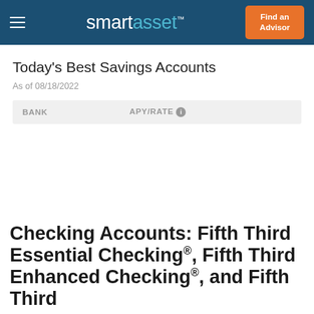smartasset™
Today's Best Savings Accounts
As of 08/18/2022
| BANK | APY/RATE |
| --- | --- |
Checking Accounts: Fifth Third Essential Checking®, Fifth Third Enhanced Checking®, and Fifth Third